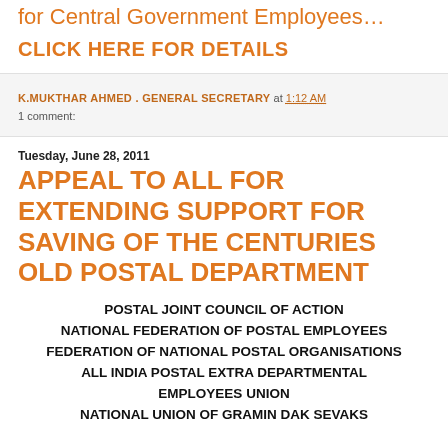for Central Government Employees…
CLICK HERE FOR DETAILS
K.MUKTHAR AHMED . GENERAL SECRETARY at 1:12 AM
1 comment:
Tuesday, June 28, 2011
APPEAL TO ALL FOR EXTENDING SUPPORT FOR SAVING OF THE CENTURIES OLD POSTAL DEPARTMENT
POSTAL JOINT COUNCIL OF ACTION
NATIONAL FEDERATION OF POSTAL EMPLOYEES
FEDERATION OF NATIONAL POSTAL ORGANISATIONS
ALL INDIA POSTAL EXTRA DEPARTMENTAL EMPLOYEES UNION
NATIONAL UNION OF GRAMIN DAK SEVAKS